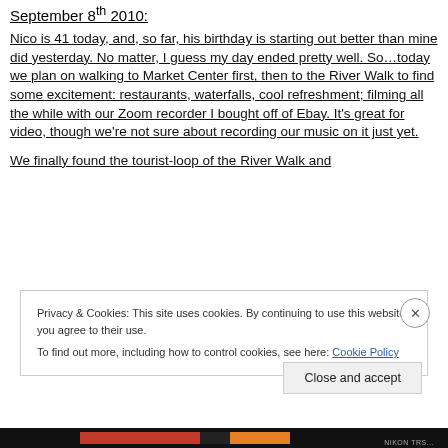September 8th 2010:
Nico is 41 today, and, so far, his birthday is starting out better than mine did yesterday.  No matter, I guess my day ended pretty well.  So…today we plan on walking to Market Center first, then to the River Walk to find some excitement: restaurants, waterfalls, cool refreshment; filming all the while with our Zoom recorder I bought off of Ebay.  It's great for video, though we're not sure about recording our music on it just yet.
We finally found the tourist-loop of the River Walk and
Privacy & Cookies: This site uses cookies. By continuing to use this website, you agree to their use.
To find out more, including how to control cookies, see here: Cookie Policy
Close and accept